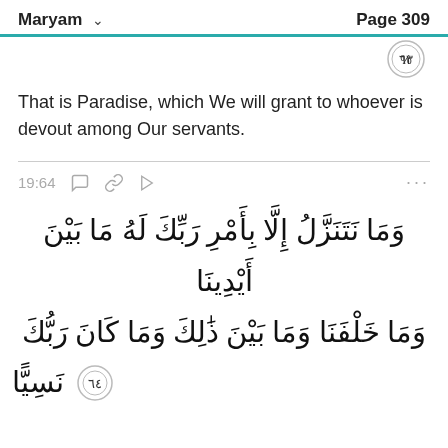Maryam   Page 309
That is Paradise, which We will grant to whoever is devout among Our servants.
19:64
وَمَا نَتَنَزَّلُ إِلَّا بِأَمْرِ رَبِّكَ لَهُ مَا بَيْنَ أَيْدِينَا وَمَا خَلْفَنَا وَمَا بَيْنَ ذَٰلِكَ وَمَا كَانَ رَبُّكَ نَسِيًّا ٦٤